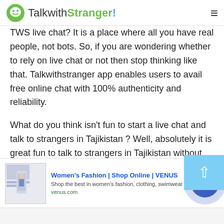TalkwithStranger!
TWS live chat? It is a place where all you have real people, not bots. So, if you are wondering whether to rely on live chat or not then stop thinking like that. Talkwithstranger app enables users to avail free online chat with 100% authenticity and reliability.
What do you think isn't fun to start a live chat and talk to strangers in Tajikistan ? Well, absolutely it is great fun to talk to strangers in Tajikistan without going anywhere. All you need your phone, a good
[Figure (screenshot): Advertisement banner for Women's Fashion | Shop Online | VENUS with image, title, description and navigation button]